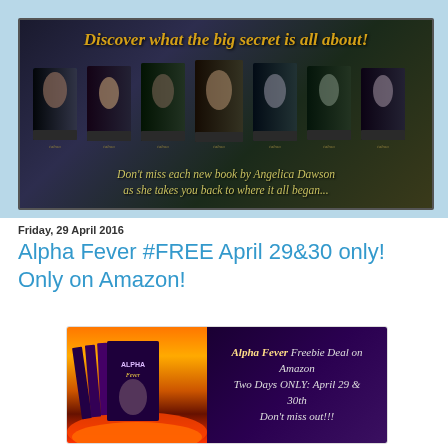[Figure (illustration): Dark-themed book series banner with gold text 'Discover what the big secret is all about!' showing 7 book covers in a row from the 'Taboo' series by Angelica Dawson, with subtitle 'Don't miss each new book by Angelica Dawson as she takes you back to where it all began...']
Friday, 29 April 2016
Alpha Fever #FREE April 29&30 only! Only on Amazon!
[Figure (illustration): Alpha Fever book box set promotional image with flames background, showing stacked books with text 'Alpha Fever Freebie Deal on Amazon Two Days ONLY: April 29 & 30th Don't miss out!!!']